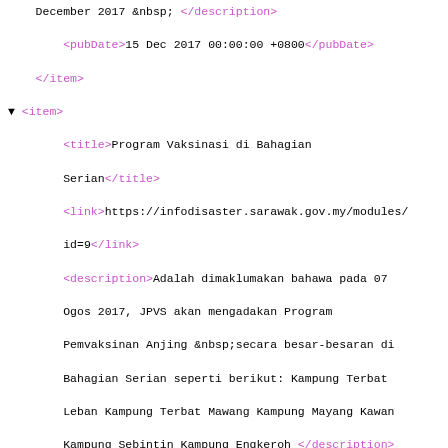XML RSS feed content showing government disaster info items with pubDate, title, link, description tags for Sarawak infodisaster portal
[Figure (screenshot): XML/RSS feed viewer showing multiple <item> elements with title, link, description, and pubDate child elements. Content includes vaccination program announcements from Sarawak government website.]